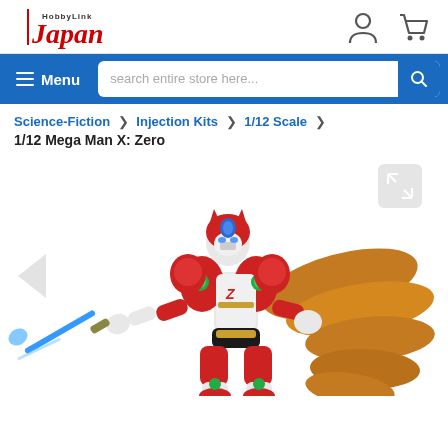HobbyLink Japan
Menu  search entire store here...
Science-Fiction > Injection Kits > 1/12 Scale > 1/12 Mega Man X: Zero
[Figure (photo): Product photo of a 1/12 scale Mega Man X: Zero action figure. The figure shows Zero in red and white armor with long flowing orange hair, holding a blue beam saber, in a dynamic pose.]